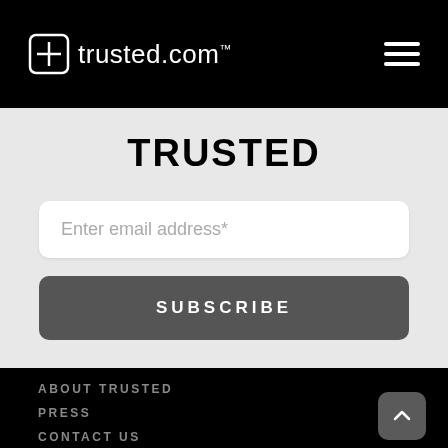trusted.com
TRUSTED
Enter email address*
SUBSCRIBE
ABOUT TRUSTED
PRESS
CONTACT US